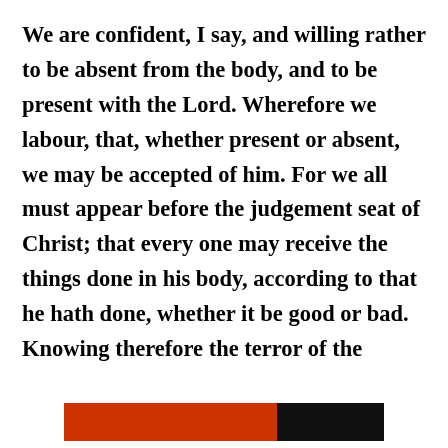We are confident, I say, and willing rather to be absent from the body, and to be present with the Lord. Wherefore we labour, that, whether present or absent, we may be accepted of him. For we all must appear before the judgement seat of Christ; that every one may receive the things done in his body, according to that he hath done, whether it be good or bad. Knowing therefore the terror of the
Privacy & Cookies: This site uses cookies. By continuing to use this website, you agree to their use. To find out more, including how to control cookies, see here: Cookie Policy
Close and accept